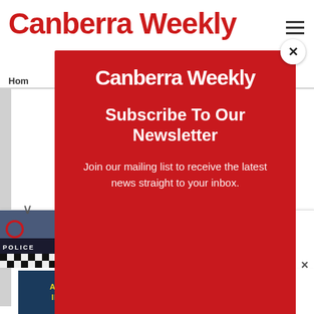Canberra Weekly
Hom
[Figure (screenshot): Modal popup overlay on Canberra Weekly website with red background showing newsletter subscription prompt]
Canberra Weekly
Subscribe To Our Newsletter
Join our mailing list to receive the latest news straight to your inbox.
[Figure (photo): Police car and police tape thumbnail image for news article]
Missing 33-year-old woman's body found in Belconnen | Canberra Weekly
[Figure (screenshot): Advertisement banner: ARE YOU A DEFINED BENEFIT MEMBER AND IN NEED OF TAILORED FINANCIAL ADVICE?]